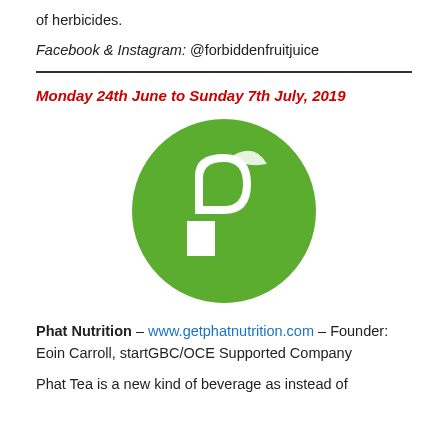of herbicides.
Facebook & Instagram: @forbiddenfruitjuice
Monday 24th June to Sunday 7th July, 2019
[Figure (logo): Phat Nutrition green circular logo with a white stylized leaf/P shape]
Phat Nutrition – www.getphatnutrition.com – Founder: Eoin Carroll, startGBC/OCE Supported Company
Phat Tea is a new kind of beverage as instead of